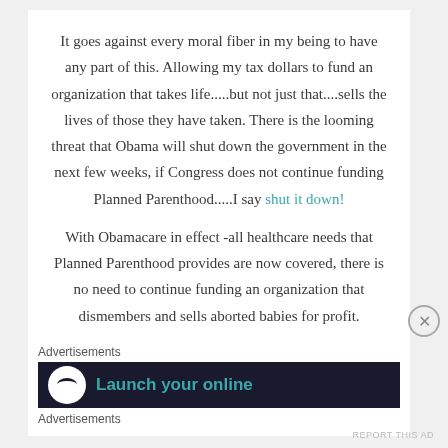It goes against every moral fiber in my being to have any part of this. Allowing my tax dollars to fund an organization that takes life.....but not just that....sells the lives of those they have taken. There is the looming threat that Obama will shut down the government in the next few weeks, if Congress does not continue funding Planned Parenthood.....I say shut it down!
With Obamacare in effect -all healthcare needs that Planned Parenthood provides are now covered, there is no need to continue funding an organization that dismembers and sells aborted babies for profit.
Advertisements
[Figure (screenshot): Advertisement banner with dark background showing a white circle icon and teal text 'Launch your online']
Advertisements